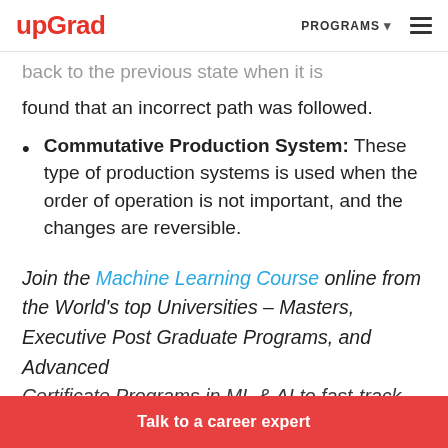upGrad | PROGRAMS ☰
…back to the previous state when it is found that an incorrect path was followed.
Commutative Production System: These type of production systems is used when the order of operation is not important, and the changes are reversible.
Join the Machine Learning Course online from the World's top Universities – Masters, Executive Post Graduate Programs, and Advanced Certificate Programs in ML & AI to fast-track your career.
Talk to a career expert